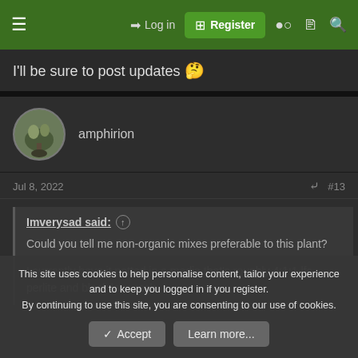Log in | Register
I'll be sure to post updates 🤓
amphirion
Jul 8, 2022  #13
Imverysad said: ↑

Could you tell me non-organic mixes preferable to this plant?

I currently have it potted in a media that's roughly 4:1:1 lfs, perlite and black lava rock.
This site uses cookies to help personalise content, tailor your experience and to keep you logged in if you register.
By continuing to use this site, you are consenting to our use of cookies.